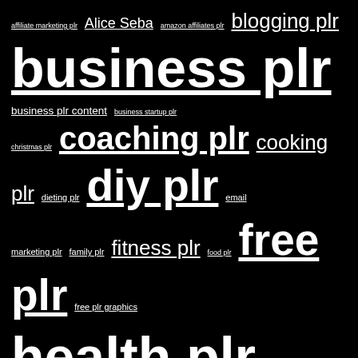[Figure (other): Tag cloud on black background with white text showing various PLR (Private Label Rights) related tags in different font sizes. Tags include: affiliate marketing plr, Alice Seba, amazon affiliates plr, blogging plr, business plr, business plr content, business startup plr, christmas plr, coaching plr, cooking plr, dieting plr, diy plr, email marketing plr, family plr, fitness plr, food plr, free plr, free plr graphics, health plr content, health plr reports, healthy eating plr, home plr, IM plr content, im plr reports, make money plr, marketing plr, Melissa Ingold, moms plr, Nicole Dean, parenting plr, plr coupon codes, plr courses, plr ebooks, plr graphics, plr marketing, plr on sale, plr product reviews, plr recipes, plr reports, plr sale, seasonal plr, self help plr, Sharyn Sheldon, social media plr, weight loss plr]